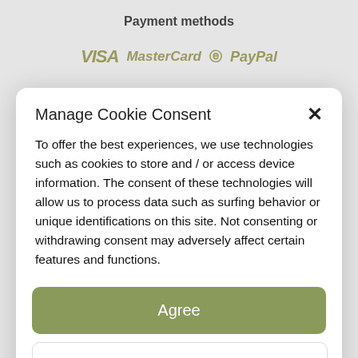Payment methods
[Figure (logo): Payment method logos: VISA, MasterCard, PayPal shown in olive/gold italic text]
Manage Cookie Consent
To offer the best experiences, we use technologies such as cookies to store and / or access device information. The consent of these technologies will allow us to process data such as surfing behavior or unique identifications on this site. Not consenting or withdrawing consent may adversely affect certain features and functions.
Agree
Decline
View preferences